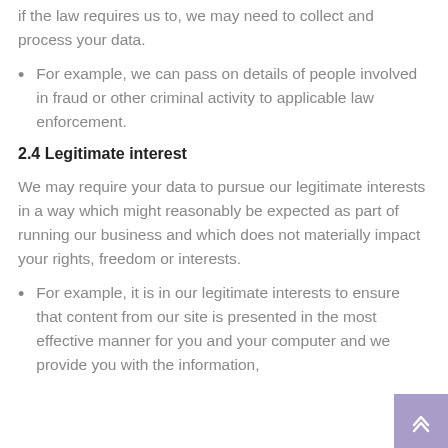if the law requires us to, we may need to collect and process your data.
For example, we can pass on details of people involved in fraud or other criminal activity to applicable law enforcement.
2.4 Legitimate interest
We may require your data to pursue our legitimate interests in a way which might reasonably be expected as part of running our business and which does not materially impact your rights, freedom or interests.
For example, it is in our legitimate interests to ensure that content from our site is presented in the most effective manner for you and your computer and we provide you with the information, products and services that you request from us.